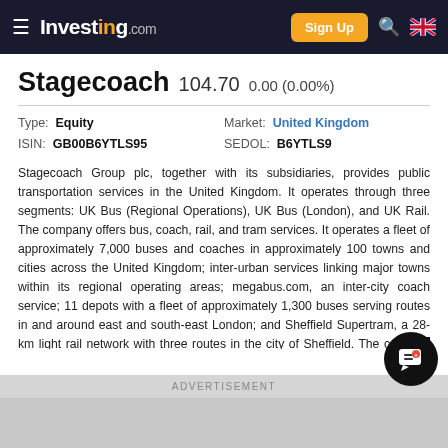Investing.com — Sign Up
Stagecoach 104.70 0.00 (0.00%)
| Field | Value |
| --- | --- |
| Type: | Equity |
| Market: | United Kingdom |
| ISIN: | GB00B6YTLS95 |
| SEDOL: | B6YTLS9 |
Stagecoach Group plc, together with its subsidiaries, provides public transportation services in the United Kingdom. It operates through three segments: UK Bus (Regional Operations), UK Bus (London), and UK Rail. The company offers bus, coach, rail, and tram services. It operates a fleet of approximately 7,000 buses and coaches in approximately 100 towns and cities across the United Kingdom; inter-urban services linking major towns within its regional operating areas; megabus.com, an inter-city coach service; 11 depots with a fleet of approximately 1,300 buses serving routes in and around east and south-east London; and Sheffield Supertram, a 28-km light rail network with three routes in the city of Sheffield. The company was founded in 1980 and is headquartered in Perth, the United Kingdom.
ADVERTISEMENT